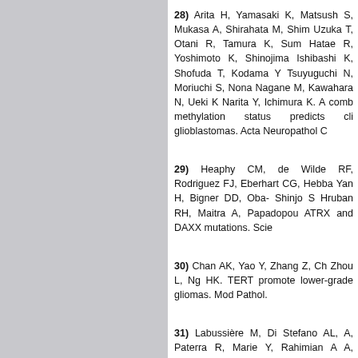28) Arita H, Yamasaki K, Matsush... S, Mukasa A, Shirahata M, Shim... Uzuka T, Otani R, Tamura K, Sum... Hatae R, Yoshimoto K, Shinojima... Ishibashi K, Shofuda T, Kodama Y... Tsuyuguchi N, Moriuchi S, Nona... Nagane M, Kawahara N, Ueki K... Narita Y, Ichimura K. A comb... methylation status predicts cli... glioblastomas. Acta Neuropathol C...
29) Heaphy CM, de Wilde RF,... Rodriguez FJ, Eberhart CG, Hebba... Yan H, Bigner DD, Oba- Shinjo S... Hruban RH, Maitra A, Papadopou... ATRX and DAXX mutations. Scie...
30) Chan AK, Yao Y, Zhang Z, Ch... Zhou L, Ng HK. TERT promote... lower-grade gliomas. Mod Pathol.
31) Labussière M, Di Stefano AL,... A, Paterra R, Marie Y, Rahimian A... A, Delattre JY, Mokhtari K, Sans... associations and clinico-pathologic...
32) Liu X, Wu C, Shan Y, Hertr...